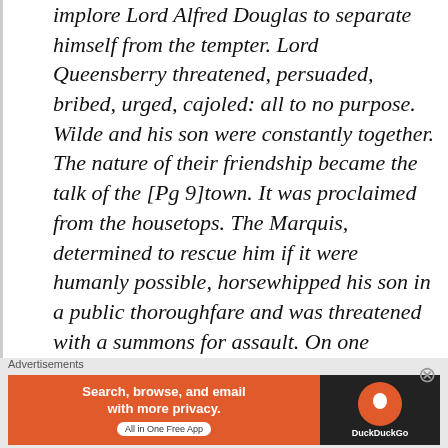implore Lord Alfred Douglas to separate himself from the tempter. Lord Queensberry threatened, persuaded, bribed, urged, cajoled: all to no purpose. Wilde and his son were constantly together. The nature of their friendship became the talk of the [Pg 9]town. It was proclaimed from the housetops. The Marquis, determined to rescue him if it were humanly possible, horsewhipped his son in a public thoroughfare and was threatened with a summons for assault. On one occasion—it was the opening
Advertisements
[Figure (other): DuckDuckGo advertisement banner: orange background with text 'Search, browse, and email with more privacy. All in One Free App' and DuckDuckGo logo on dark background.]